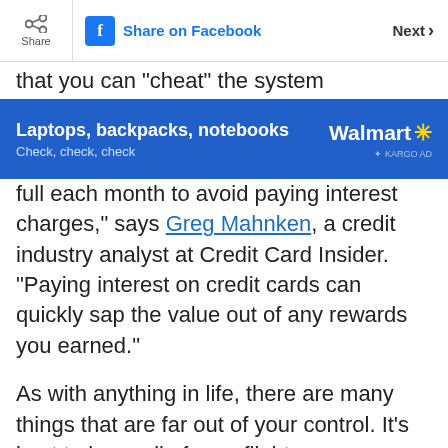Share | Share on Facebook | Next >
[Figure (screenshot): Walmart advertisement banner with text 'Laptops, backpacks, notebooks — Check, check, check' and Walmart logo with Kargo Ad label on a blue background.]
full each month to avoid paying interest charges," says Greg Mahnken, a credit industry analyst at Credit Card Insider. "Paying interest on credit cards can quickly sap the value out of any rewards you earned."
As with anything in life, there are many things that are far out of your control. It's best to have all of your flights, accommodation, and contact information safe and in a secure place. To protect yourself against hackers, make sure you have a VPN, only use secure apps, and